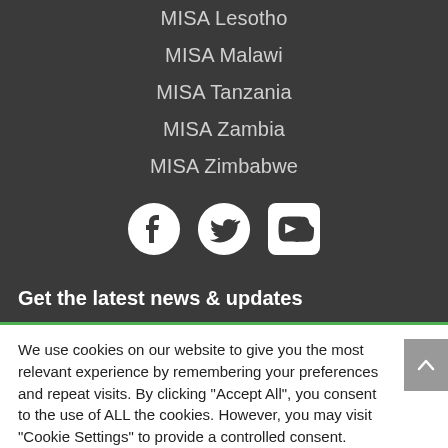MISA Lesotho
MISA Malawi
MISA Tanzania
MISA Zambia
MISA Zimbabwe
[Figure (illustration): Social media icons: Facebook, Twitter, YouTube]
Get the latest news & updates
We use cookies on our website to give you the most relevant experience by remembering your preferences and repeat visits. By clicking "Accept All", you consent to the use of ALL the cookies. However, you may visit "Cookie Settings" to provide a controlled consent.
Cookie Settings | Accept All